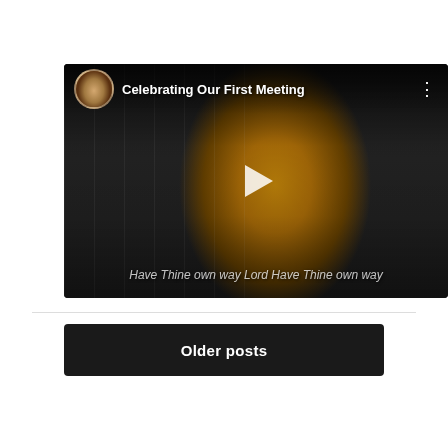[Figure (screenshot): YouTube-style video thumbnail showing a man playing acoustic guitar in a dark room with white folding doors in the background. The video header shows a circular avatar of the same person, the title 'Celebrating Our First Meeting', a three-dot menu icon, and a play button in the center. A subtitle reads 'Have Thine own way Lord Have Thine own way' at the bottom of the video.]
Older posts